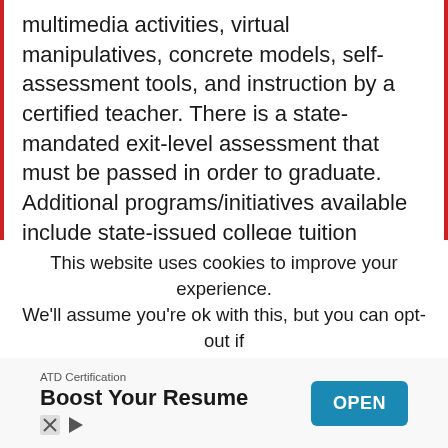multimedia activities, virtual manipulatives, concrete models, self-assessment tools, and instruction by a certified teacher. There is a state-mandated exit-level assessment that must be passed in order to graduate. Additional programs/initiatives available include state-issued college tuition credits, AP courses, credit by exams, and supplement courses. Tuition is calculated on a per course basis.
Accreditation: Texas Education A...
This website uses cookies to improve your experience. We'll assume you're ok with this, but you can opt-out if
[Figure (other): Advertisement banner: ATD Certification - Boost Your Resume, with OPEN button]